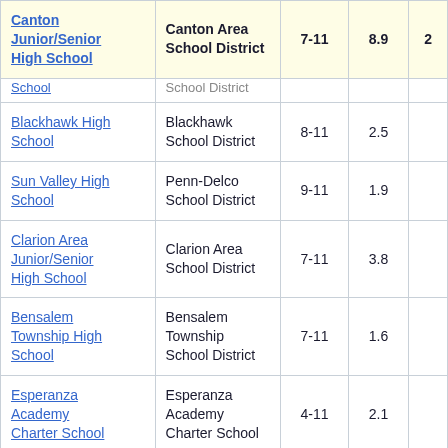| School | District | Grades | Score |  |
| --- | --- | --- | --- | --- |
| Canton Junior/Senior High School | Canton Area School District | 7-11 | 8.9 | 2 |
| [School] | School District |  |  |  |
| Blackhawk High School | Blackhawk School District | 8-11 | 2.5 |  |
| Sun Valley High School | Penn-Delco School District | 9-11 | 1.9 |  |
| Clarion Area Junior/Senior High School | Clarion Area School District | 7-11 | 3.8 |  |
| Bensalem Township High School | Bensalem Township School District | 7-11 | 1.6 |  |
| Esperanza Academy Charter School | Esperanza Academy Charter School | 4-11 | 2.1 |  |
| Chester High School | Chester-Upland School District | 9-11 | 3.9 |  |